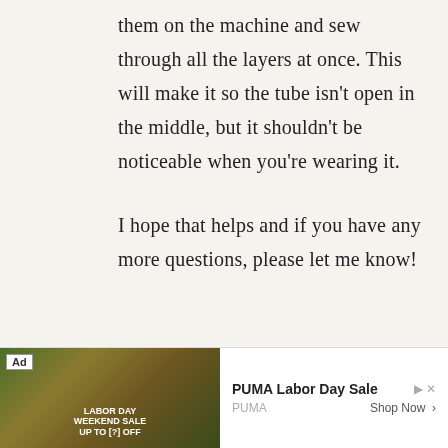them on the machine and sew through all the layers at once. This will make it so the tube isn't open in the middle, but it shouldn't be noticeable when you're wearing it.
I hope that helps and if you have any more questions, please let me know!
[Figure (other): Advertisement banner for PUMA Labor Day Sale. Shows a PUMA advertisement with an image of a person, 'Ad' label, PUMA Labor Day Sale title, PUMA brand name, and 'Shop Now >' link. Also includes a close (X) button in the top right corner.]